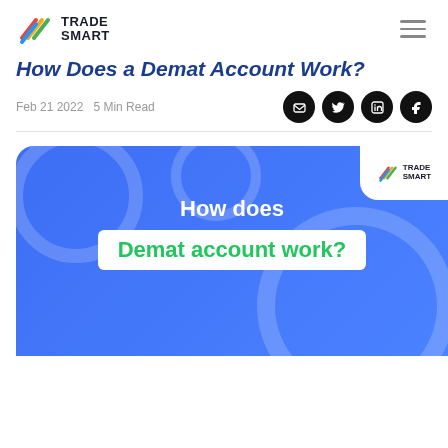TRADE SMART
How Does a Demat Account Work?
Feb 21 2022   5 Min Read
[Figure (illustration): Featured blog post image with blue background showing 'How does Demat account work?' text, with TradeSmart logo in the top-right white corner tab]
How does Demat account work?